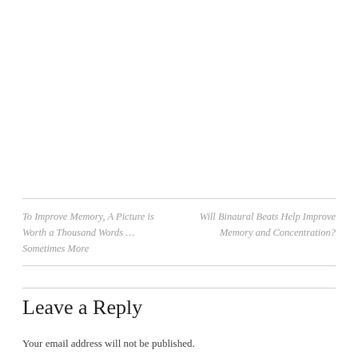To Improve Memory, A Picture is Worth a Thousand Words … Sometimes More
Will Binaural Beats Help Improve Memory and Concentration?
Leave a Reply
Your email address will not be published.